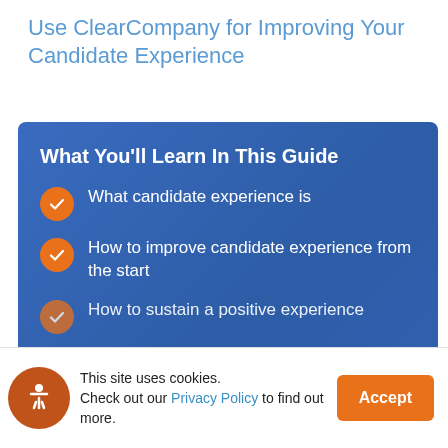Use ClearCompany for Improving Your Candidate Experience
What You'll Learn In This Guide
What candidate experience is
How to improve candidate experience from the start
How to sustain a positive experience
This site uses cookies. Check out our Privacy Policy to find out more.